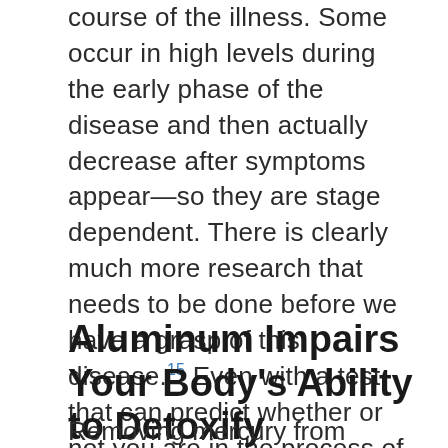course of the illness. Some occur in high levels during the early phase of the disease and then actually decrease after symptoms appear—so they are stage dependent. There is clearly much more research that needs to be done before we have a grasp of this disease.15 Even with a test that can predict whether or not you are in the process of developing dementia, there are no good treatments once you have it—so you should be doing everything in your power to prevent it. One of the strategies is helping your body detoxify from metals, such as aluminum.
Aluminum Impairs Your Body's Ability to Detoxify
Removing mercury from vaccines and